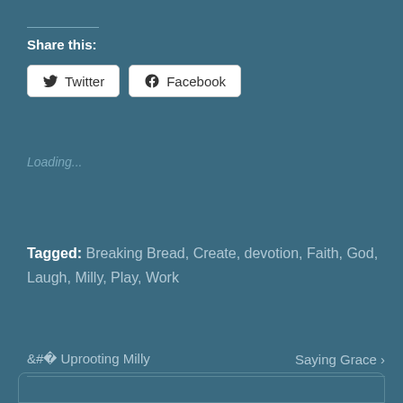Share this:
Twitter  Facebook
Loading...
Tagged: Breaking Bread, Create, devotion, Faith, God, Laugh, Milly, Play, Work
< Uprooting Milly    Saying Grace >